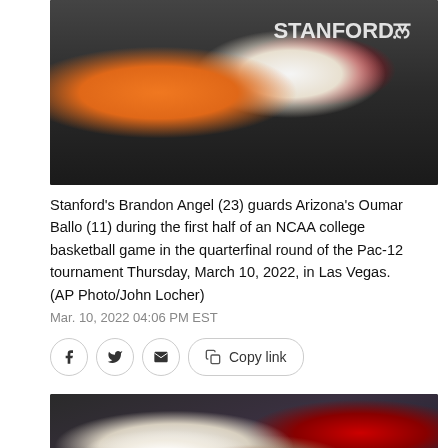[Figure (photo): Basketball action photo: Stanford's Brandon Angel (23) guarding Arizona's Oumar Ballo (11), player holding a Wilson basketball]
Stanford's Brandon Angel (23) guards Arizona's Oumar Ballo (11) during the first half of an NCAA college basketball game in the quarterfinal round of the Pac-12 tournament Thursday, March 10, 2022, in Las Vegas. (AP Photo/John Locher)
Mar. 10, 2022 04:06 PM EST
[Figure (photo): Second basketball action photo: two players in a game, one in white uniform and one in dark uniform]